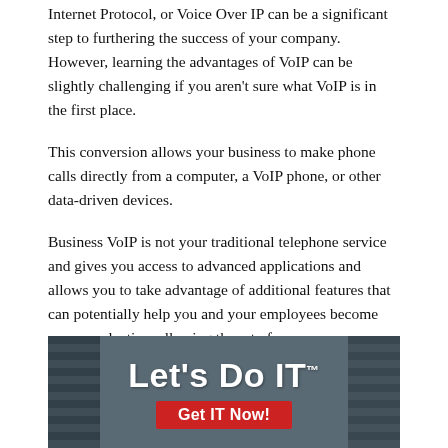Internet Protocol, or Voice Over IP can be a significant step to furthering the success of your company. However, learning the advantages of VoIP can be slightly challenging if you aren't sure what VoIP is in the first place.
This conversion allows your business to make phone calls directly from a computer, a VoIP phone, or other data-driven devices.
Business VoIP is not your traditional telephone service and gives you access to advanced applications and allows you to take advantage of additional features that can potentially help you and your employees become more productive, allowing them to focus on more pressing tasks.
[Figure (illustration): Banner advertisement with server rack background showing text 'Let's Do IT™' in large white bold font and a red button saying 'Get IT Now!']